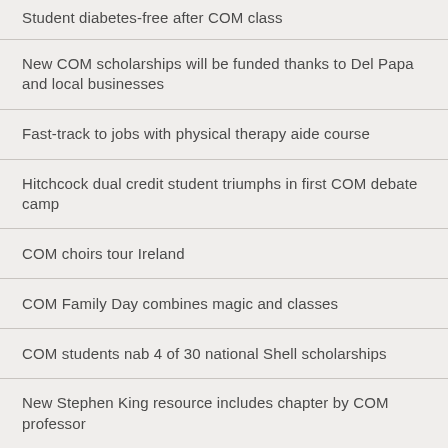Student diabetes-free after COM class
New COM scholarships will be funded thanks to Del Papa and local businesses
Fast-track to jobs with physical therapy aide course
Hitchcock dual credit student triumphs in first COM debate camp
COM choirs tour Ireland
COM Family Day combines magic and classes
COM students nab 4 of 30 national Shell scholarships
New Stephen King resource includes chapter by COM professor